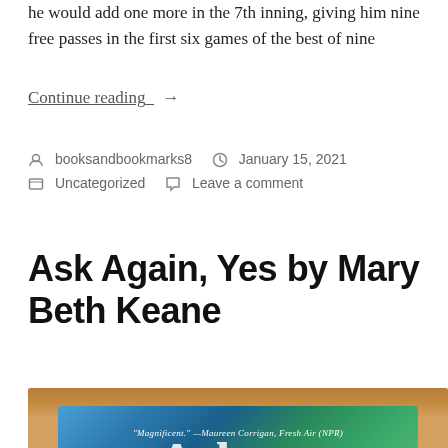he would add one more in the 7th inning, giving him nine free passes in the first six games of the best of nine
Continue reading_ →
booksandbookmarks8   January 15, 2021
Uncategorized   Leave a comment
Ask Again, Yes by Mary Beth Keane
[Figure (photo): Book cover photo of 'Ask Again, Yes by Mary Beth Keane' with quote 'Magnificent.' —Maureen Corrigan, Fresh Air (NPR)' visible at the top, showing an aerial view background in blues and greens with large white script letters]